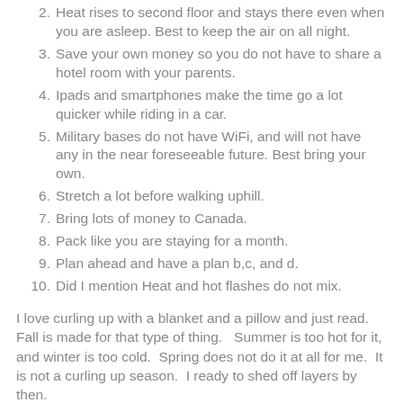2. Heat rises to second floor and stays there even when you are asleep.  Best to keep the air on all night.
3. Save your own money so you do not have to share a hotel room with your parents.
4. Ipads and smartphones make the time go a lot quicker while riding in a car.
5. Military bases do not have WiFi, and will not have any in the near foreseeable future.  Best bring your own.
6. Stretch a lot before walking uphill.
7. Bring lots of money to Canada.
8. Pack like you are staying for a month.
9. Plan ahead and have a plan b,c, and d.
10. Did I mention Heat and hot flashes do not mix.
I love curling up with a blanket and a pillow and just read.  Fall is made for that type of thing.   Summer is too hot for it, and winter is too cold.  Spring does not do it at all for me.  It is not a curling up season.  I ready to shed off layers by then.
Leaves, I used to love to jump in a pile of leaves.  I think it is a kid thing.  It's soft and messy.  You can track in the leaves